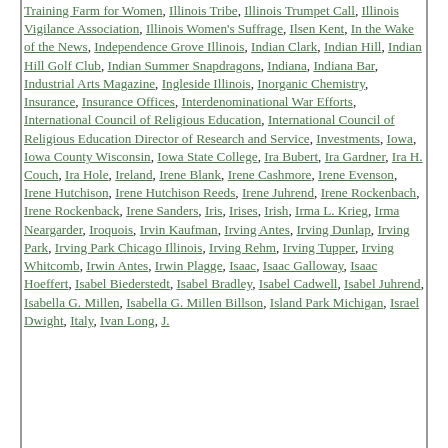Training Farm for Women, Illinois Tribe, Illinois Trumpet Call, Illinois Vigilance Association, Illinois Women's Suffrage, Ilsen Kent, In the Wake of the News, Independence Grove Illinois, Indian Clark, Indian Hill, Indian Hill Golf Club, Indian Summer Snapdragons, Indiana, Indiana Bar, Industrial Arts Magazine, Ingleside Illinois, Inorganic Chemistry, Insurance, Insurance Offices, Interdenominational War Efforts, International Council of Religious Education, International Council of Religious Education Director of Research and Service, Investments, Iowa, Iowa County Wisconsin, Iowa State College, Ira Bubert, Ira Gardner, Ira H. Couch, Ira Hole, Ireland, Irene Blank, Irene Cashmore, Irene Evenson, Irene Hutchison, Irene Hutchison Reeds, Irene Juhrend, Irene Rockenbach, Irene Rockenback, Irene Sanders, Iris, Irises, Irish, Irma L. Krieg, Irma Neargarder, Iroquois, Irvin Kaufman, Irving Antes, Irving Dunlap, Irving Park, Irving Park Chicago Illinois, Irving Rehm, Irving Tupper, Irving Whitcomb, Irwin Antes, Irwin Plagge, Isaac, Isaac Galloway, Isaac Hoeffert, Isabel Biederstedt, Isabel Bradley, Isabel Cadwell, Isabel Juhrend, Isabella G. Millen, Isabella G. Millen Billson, Island Park Michigan, Israel Dwight, Italy, Ivan Long, J. Puncohar, J. Christiansen, J. Frau, J. Frost, J. Glen...